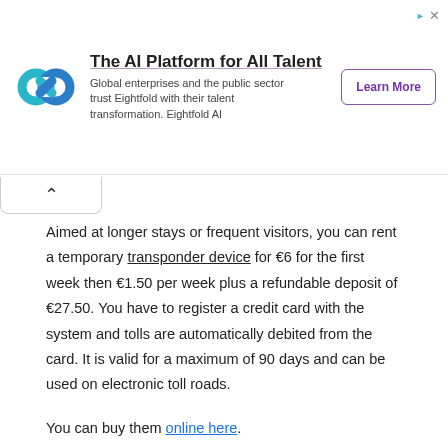[Figure (other): Advertisement banner for Eightfold AI platform with logo, title 'The AI Platform for All Talent', subtitle text, and 'Learn More' button.]
Aimed at longer stays or frequent visitors, you can rent a temporary transponder device for €6 for the first week then €1.50 per week plus a refundable deposit of €27.50. You have to register a credit card with the system and tolls are automatically debited from the card. It is valid for a maximum of 90 days and can be used on electronic toll roads.
You can buy them online here.
Vehicles Registered in Portugal (including Hire Cars)